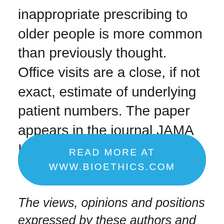inappropriate prescribing to older people is more common than previously thought. Office visits are a close, if not exact, estimate of underlying patient numbers. The paper appears in the journal JAMA Internal Medicine.
[Figure (other): Blue rounded rectangle button with text READ MORE AT WWW.BIOETHICS.COM]
The views, opinions and positions expressed by these authors and blogs are theirs and do not